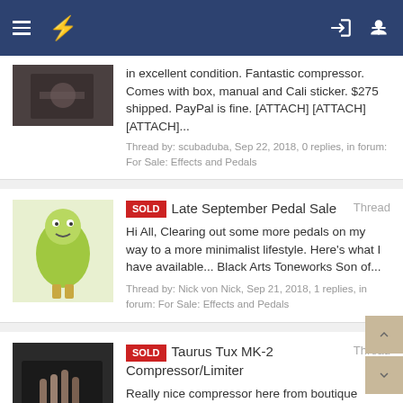Navigation header bar with menu, lightning, login and add-user icons
in excellent condition. Fantastic compressor. Comes with box, manual and Cali sticker. $275 shipped. PayPal is fine. [ATTACH] [ATTACH] [ATTACH]...
Thread by: scubaduba, Sep 22, 2018, 0 replies, in forum: For Sale: Effects and Pedals
SOLD Late September Pedal Sale Thread
Hi All, Clearing out some more pedals on my way to a more minimalist lifestyle. Here's what I have available... Black Arts Toneworks Son of...
Thread by: Nick von Nick, Sep 21, 2018, 1 replies, in forum: For Sale: Effects and Pedals
SOLD Taurus Tux MK-2 Compressor/Limiter Thread
Really nice compressor here from boutique Polish pedalmaker Taurus. This is the newer smaller MK-2 model with Solid and Tube character switch....
Thread by: scubaduba, Sep 1, 2018, 0 replies, in forum: For Sale: Effects and Pedals